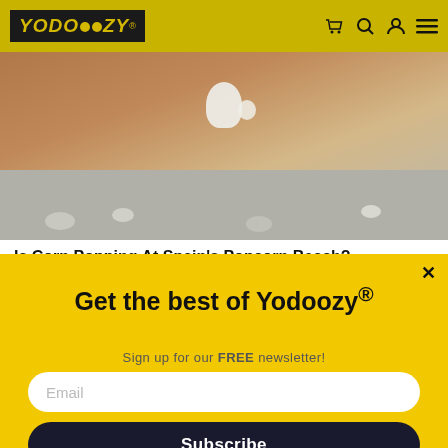YODOOZY®
[Figure (photo): Partial view of a beach/nature photo showing skin and white rocky/sandy texture, cropped at top]
Is Corn Popping At Spain's Popcorn Beach?
Get the best of Yodoozy®
Sign up for our FREE newsletter!
Subscribe